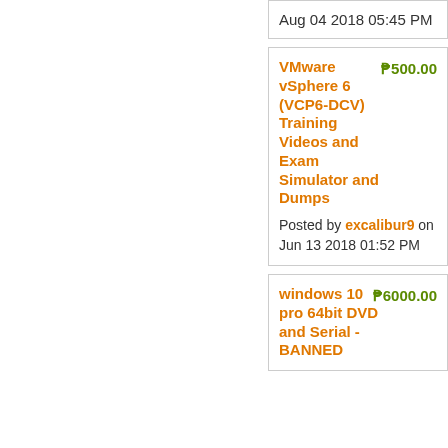Aug 04 2018 05:45 PM
VMware vSphere 6 (VCP6-DCV) Training Videos and Exam Simulator and Dumps
P500.00
Posted by excalibur9 on Jun 13 2018 01:52 PM
windows 10 pro 64bit DVD and Serial - BANNED
P6000.00